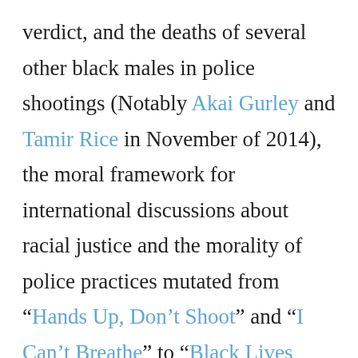verdict, and the deaths of several other black males in police shootings (Notably Akai Gurley and Tamir Rice in November of 2014), the moral framework for international discussions about racial justice and the morality of police practices mutated from “Hands Up, Don’t Shoot” and “I Can’t Breathe” to “Black Lives Matter”. This collection of essays is an attempt to capture the philosophically pertinent aspects of the still vibrant online discussion about the relationship between